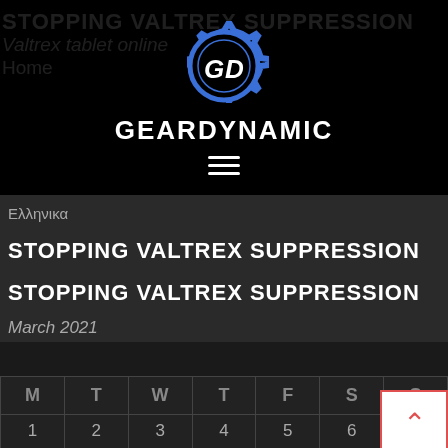[Figure (logo): GearDynamic logo: gear icon with G and D letters in white on blue outline, above the text GEARDYNAMIC]
GEARDYNAMIC
Ελληνικα
STOPPING VALTREX SUPPRESSION
STOPPING VALTREX SUPPRESSION
March 2021
| M | T | W | T | F | S | S |
| --- | --- | --- | --- | --- | --- | --- |
| 1 | 2 | 3 | 4 | 5 | 6 | 7 |